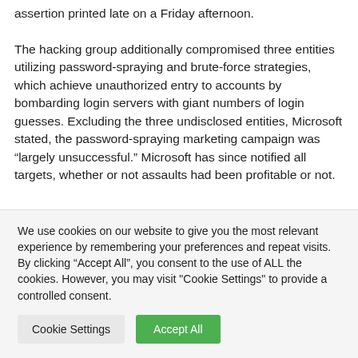assertion printed late on a Friday afternoon. The hacking group additionally compromised three entities utilizing password-spraying and brute-force strategies, which achieve unauthorized entry to accounts by bombarding login servers with giant numbers of login guesses. Excluding the three undisclosed entities, Microsoft stated, the password-spraying marketing campaign was “largely unsuccessful.” Microsoft has since notified all targets, whether or not assaults had been profitable or not.
We use cookies on our website to give you the most relevant experience by remembering your preferences and repeat visits. By clicking “Accept All”, you consent to the use of ALL the cookies. However, you may visit "Cookie Settings" to provide a controlled consent.